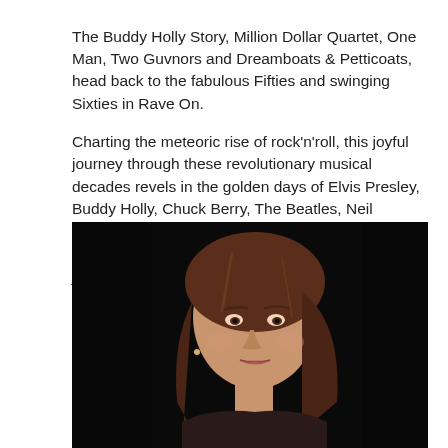The Buddy Holly Story, Million Dollar Quartet, One Man, Two Guvnors and Dreamboats & Petticoats, head back to the fabulous Fifties and swinging Sixties in Rave On.
Charting the meteoric rise of rock'n'roll, this joyful journey through these revolutionary musical decades revels in the golden days of Elvis Presley, Buddy Holly, Chuck Berry, The Beatles, Neil Sedaka, The Kinks, Connie Francis, Lulu and The Shadows. Box office: 01904 623568 or at yorktheatreroyal.co.uk.
[Figure (photo): Portrait photograph of a young woman with long brown hair against a dark/black background, looking slightly to the side with a subtle smile.]